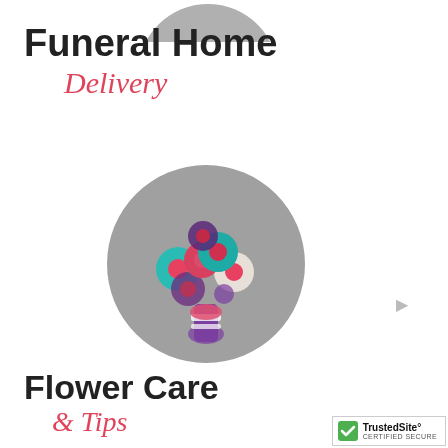[Figure (illustration): Partial gray circle at top of page, cut off]
Funeral Home
Delivery
[Figure (illustration): Gray circle with flat-design flower bouquet icon featuring teal, pink, white, and purple flowers]
Flower Care
& Tips
[Figure (illustration): Partial gray circle at bottom with flat-design hospital building icon]
[Figure (logo): TrustedSite Certified Secure badge in bottom right corner]